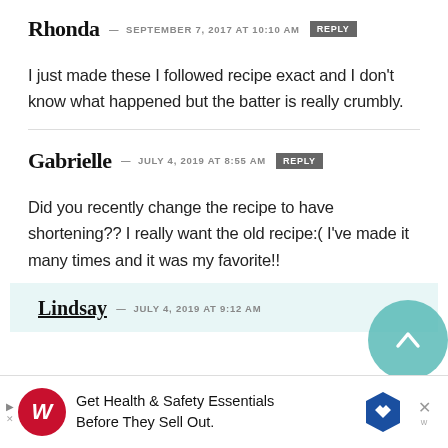Rhonda — SEPTEMBER 7, 2017 at 10:10 AM REPLY
I just made these I followed recipe exact and I don't know what happened but the batter is really crumbly.
Gabrielle — JULY 4, 2019 at 8:55 AM REPLY
Did you recently change the recipe to have shortening?? I really want the old recipe:( I've made it many times and it was my favorite!!
Lindsay — JULY 4, 2019 at 9:12 AM
[Figure (screenshot): Advertisement banner: Walgreens - Get Health & Safety Essentials Before They Sell Out.]